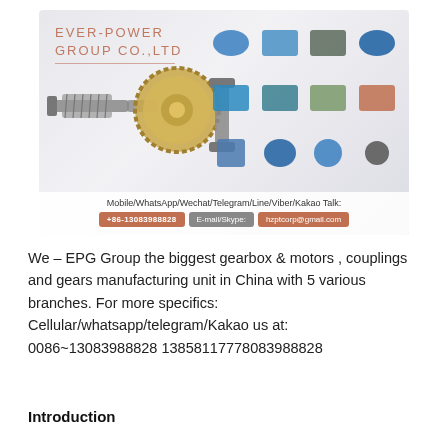[Figure (photo): Ever-Power Group Co.,Ltd advertisement banner showing company name, gearbox and motor products, contact information including phone +86-13083988828 and email hzptcorp@gmail.com]
We – EPG Group the biggest gearbox & motors , couplings and gears manufacturing unit in China with 5 various branches. For more specifics: Cellular/whatsapp/telegram/Kakao us at: 0086~13083988828 13858117778083988828
Introduction